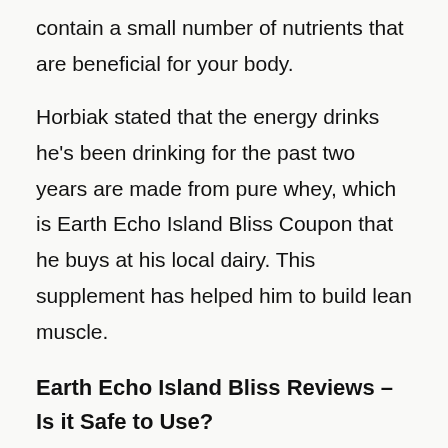contain a small number of nutrients that are beneficial for your body.
Horbiak stated that the energy drinks he's been drinking for the past two years are made from pure whey, which is Earth Echo Island Bliss Coupon that he buys at his local dairy. This supplement has helped him to build lean muscle.
Earth Echo Island Bliss Reviews – Is it Safe to Use?
Horbiak stated that you don't have to be an athlete in order to drink this energy drink. Only your health is important. He